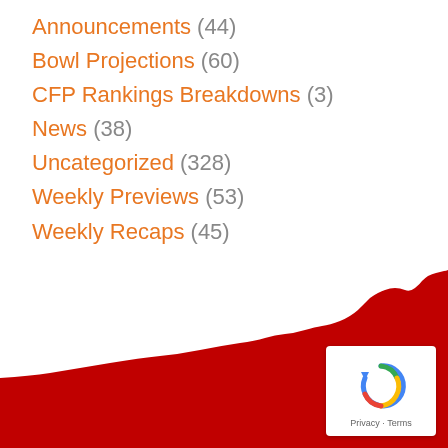Announcements (44)
Bowl Projections (60)
CFP Rankings Breakdowns (3)
News (38)
Uncategorized (328)
Weekly Previews (53)
Weekly Recaps (45)
[Figure (illustration): Red silhouette/landscape shape at the bottom of the page, representing a sports/football themed decorative background element]
[Figure (logo): Google reCAPTCHA badge with circular arrow icon and Privacy - Terms text]